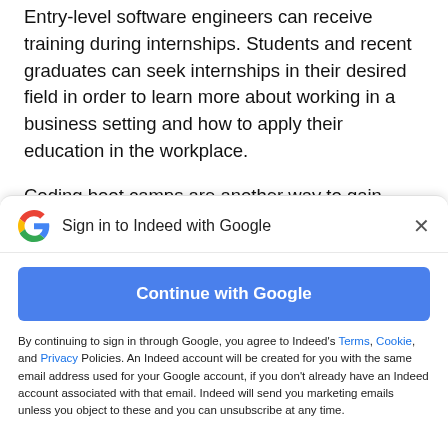Entry-level software engineers can receive training during internships. Students and recent graduates can seek internships in their desired field in order to learn more about working in a business setting and how to apply their education in the workplace.
Coding boot camps are another way to gain important experience and skill training. They teach people with little programming experience the
[Figure (screenshot): Google sign-in modal dialog with 'Sign in to Indeed with Google' header, Google G logo, close X button, 'Continue with Google' blue button, and disclaimer text about Terms, Cookie, and Privacy Policies.]